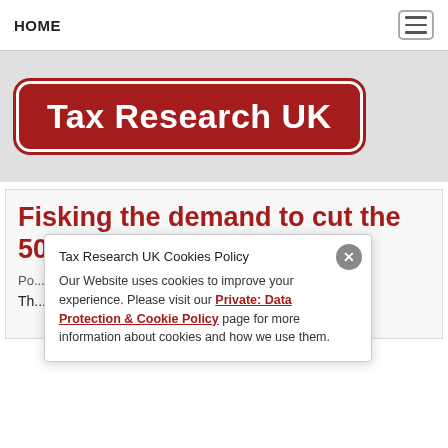HOME
[Figure (logo): Tax Research UK logo: dark red rounded rectangle with white text reading 'Tax Research UK']
Fisking the demand to cut the 50p tax and sh...
Po...
Th...
Tax Research UK Cookies Policy
Our Website uses cookies to improve your experience. Please visit our Private: Data Protection & Cookie Policy page for more information about cookies and how we use them.